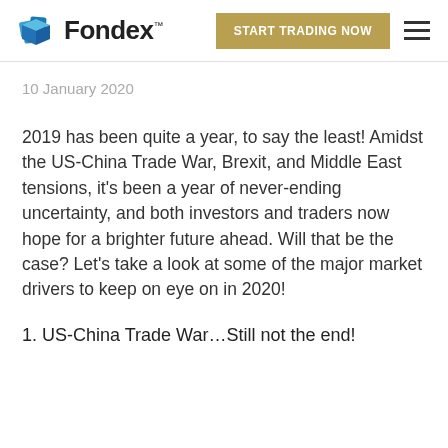Fondex | START TRADING NOW
10 January 2020
2019 has been quite a year, to say the least! Amidst the US-China Trade War, Brexit, and Middle East tensions, it's been a year of never-ending uncertainty, and both investors and traders now hope for a brighter future ahead. Will that be the case? Let's take a look at some of the major market drivers to keep on eye on in 2020!
1. US-China Trade War…Still not the end!